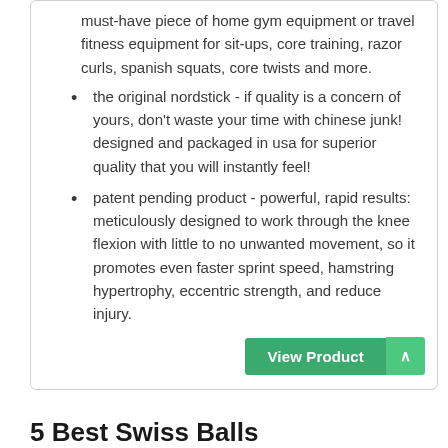must-have piece of home gym equipment or travel fitness equipment for sit-ups, core training, razor curls, spanish squats, core twists and more.
the original nordstick - if quality is a concern of yours, don't waste your time with chinese junk! designed and packaged in usa for superior quality that you will instantly feel!
patent pending product - powerful, rapid results: meticulously designed to work through the knee flexion with little to no unwanted movement, so it promotes even faster sprint speed, hamstring hypertrophy, eccentric strength, and reduce injury.
View Product
5 Best Swiss Balls